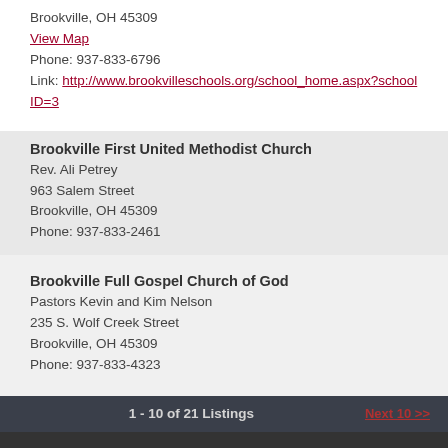Brookville, OH 45309
View Map
Phone: 937-833-6796
Link: http://www.brookvilleschools.org/school_home.aspx?schoolID=3
Brookville First United Methodist Church
Rev. Ali Petrey
963 Salem Street
Brookville, OH 45309
Phone: 937-833-2461
Brookville Full Gospel Church of God
Pastors Kevin and Kim Nelson
235 S. Wolf Creek Street
Brookville, OH 45309
Phone: 937-833-4323
1 - 10 of 21 Listings   Next 10 >>